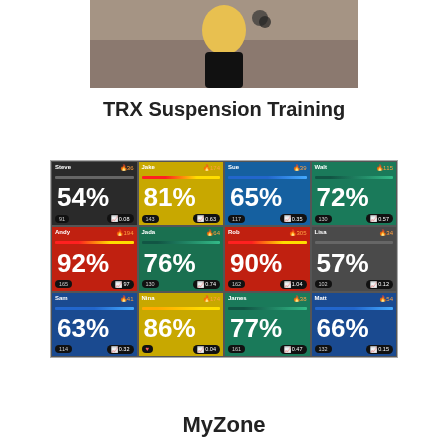[Figure (photo): Person in yellow top doing TRX suspension training in a gym]
TRX Suspension Training
[Figure (screenshot): MyZone fitness tracking grid showing 12 participants with heart rate percentages. Steve 54%, Jake 81%, Sue 65%, Walt 72%, Andy 92%, Jada 76%, Rob 90%, Lisa 57%, Sam 63%, Nina 86%, James 77%, Matt 66%]
MyZone